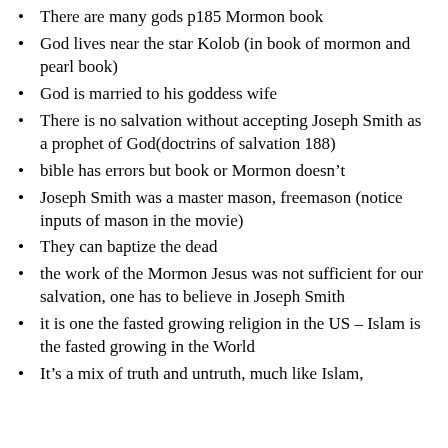There are many gods p185 Mormon book
God lives near the star Kolob (in book of mormon and pearl book)
God is married to his goddess wife
There is no salvation without accepting Joseph Smith as a prophet of God(doctrins of salvation 188)
bible has errors but book or Mormon doesn’t
Joseph Smith was a master mason, freemason (notice inputs of mason in the movie)
They can baptize the dead
the work of the Mormon Jesus was not sufficient for our salvation, one has to believe in Joseph Smith
it is one the fasted growing religion in the US – Islam is the fasted growing in the World
It’s a mix of truth and untruth, much like Islam,